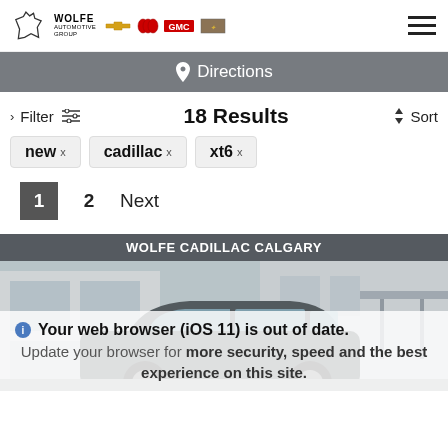[Figure (logo): Wolfe Automotive Group logo with Chevrolet, Buick, GMC, and Cadillac brand logos]
Directions
Filter  18 Results  Sort
new ×
cadillac ×
xt6 ×
1  2  Next
WOLFE CADILLAC CALGARY
[Figure (photo): Cadillac XT6 SUV parked in front of a dealership building]
Your web browser (iOS 11) is out of date. Update your browser for more security, speed and the best experience on this site.